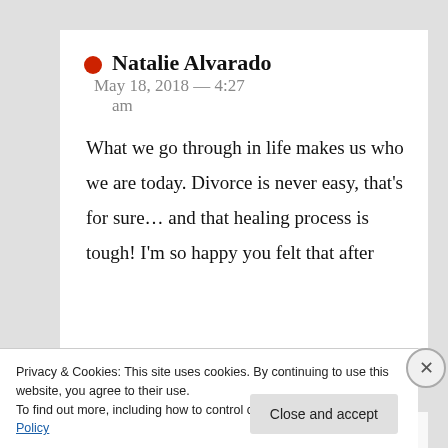Natalie Alvarado   May 18, 2018 — 4:27 am
What we go through in life makes us who we are today. Divorce is never easy, that's for sure… and that healing process is tough! I'm so happy you felt that after
Privacy & Cookies: This site uses cookies. By continuing to use this website, you agree to their use.
To find out more, including how to control cookies, see here: Cookie Policy
Close and accept